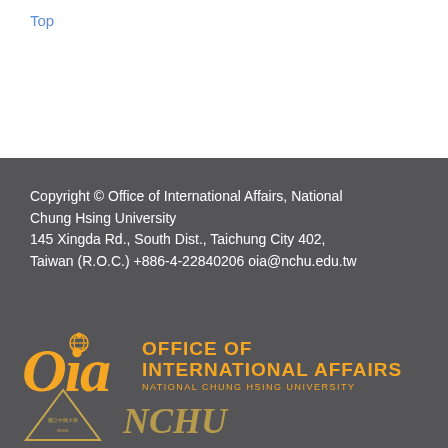Top
Copyright © Office of International Affairs, National Chung Hsing University
145 Xingda Rd., South Dist., Taichung City 402,
Taiwan (R.O.C.) +886-4-22840206 oia@nchu.edu.tw
[Figure (logo): OIA - Office of International Affairs, National Chung Hsing University logo in orange/gold color with stylized Oia lettering and globe icon]
[Figure (logo): National Chung Hsing University emblem and additional logos at bottom of page]